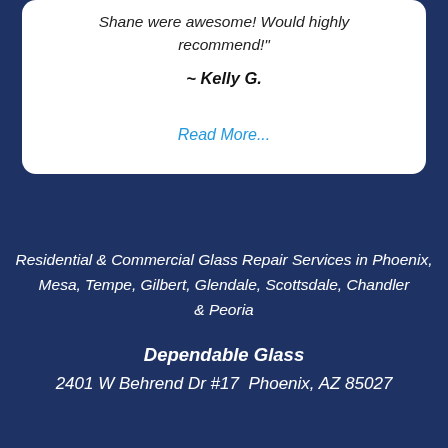Shane were awesome! Would highly recommend!"
~ Kelly G.
Read More...
Residential & Commercial Glass Repair Services in Phoenix, Mesa, Tempe, Gilbert, Glendale, Scottsdale, Chandler & Peoria
Dependable Glass
2401 W Behrend Dr #17  Phoenix, AZ 85027